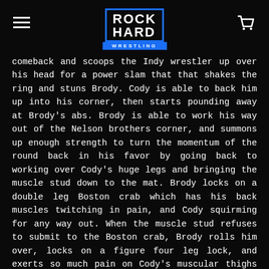ROCK HARD WRESTLING
comeback and scoops the Indy wrestler up over his head for a power slam that that shakes the ring and stuns Brody. Cody is able to back him up into his corner, then starts pounding away at Brody's abs. Brody is able to work his way out of the Nelson brothers corner, and summons up enough strength to turn the momentum of the round back in his favor by going back to working over Cody's huge legs and bringing the muscle stud down to the mat. Brody locks on a double leg Boston crab which has his back muscles twitching in pain, and Cody squirming for any way out. When the muscle stud refuses to submit to the Boston crab, Brody rolls him over, locks on a figure four leg lock, and exerts so much pain on Cody's muscular thighs that he has no choice but to tap out to the smaller Indy wrestler. Round one goes to the smaller, but more experienced tag team, as Brody tosses Cody to the side and proclaims victory flashing a number one sign in the air for all to see.